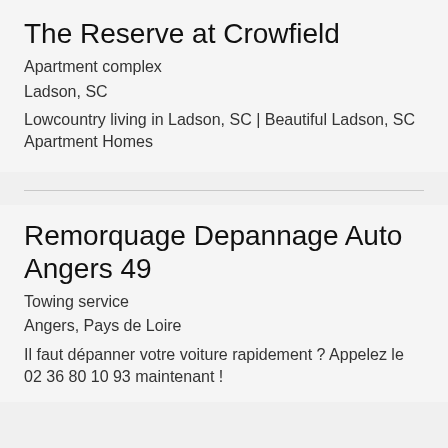The Reserve at Crowfield
Apartment complex
Ladson, SC
Lowcountry living in Ladson, SC | Beautiful Ladson, SC Apartment Homes
Remorquage Depannage Auto Angers 49
Towing service
Angers, Pays de Loire
Il faut dépanner votre voiture rapidement ? Appelez le 02 36 80 10 93 maintenant !
Categories